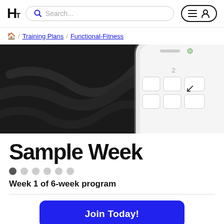HT [logo] Search... [menu/user icon]
🏠 / Training Plans / Functional-Fitness
[Figure (photo): Close-up of a smartphone corner against a dark textured background, showing part of the device screen with a downward-left arrow icon visible. The image is mostly dark/black on the left and white/light on the right where the phone screen shows.]
Sample Week
● ○ ○ ○ ○ ○ (dot pagination, first dot active)
Week 1 of 6-week program
Join Today!